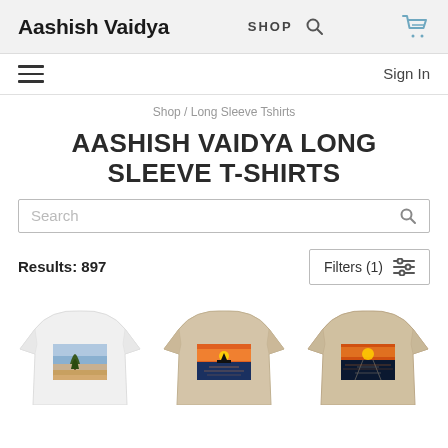Aashish Vaidya  SHOP
Sign In
Shop / Long Sleeve Tshirts
AASHISH VAIDYA LONG SLEEVE T-SHIRTS
Search
Results: 897
Filters (1)
[Figure (screenshot): Three long sleeve t-shirts with landscape photo prints on the back: white shirt with desert/tree scene, tan/beige shirt with sunset over water, tan/beige shirt with sunset over water/dock scene]